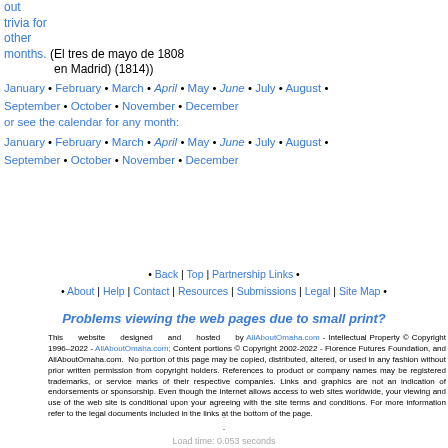out trivia for other months. (El tres de mayo de 1808 en Madrid) (1814))
January • February • March • April • May • June • July • August • September • October • November • December
or see the calendar for any month:
January • February • March • April • May • June • July • August • September • October • November • December
• Back | Top | Partnership Links • • About | Help | Contact | Resources | Submissions | Legal | Site Map •
Problems viewing the web pages due to small print?
This website designed and hosted by AllAboutOmaha.com - Intellectual Property © Copyright 1996–2022 - AllAboutOmaha.com; Content portions © Copyright 2002-2022 - Florence Futures Foundation, and AllAboutOmaha.com. No portion of this page may be copied, distributed, altered, or used in any fashion without prior written permission from copyright holders. References to product or company names may be registered trademarks, or service marks of their respective companies. Links and graphics are not an indication of endorsements or sponsorship. Even though the Internet allows access to web sites worldwide, your viewing and use of the web site is conditional upon your agreeing with the site terms and conditions. For more information refer to the legal documents included in the links at the bottom of the page.
- - Load time: 0.053 seconds